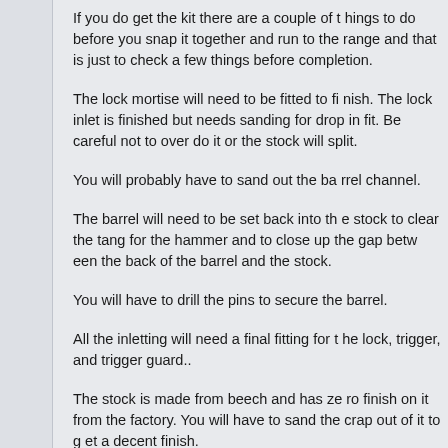If you do get the kit there are a couple of things to do before you snap it together and run to the range and that is just to check a few things before completion.
The lock mortise will need to be fitted to finish. The lock inlet is finished but needs sanding for drop in fit. Be careful not to over do it or the stock will split.
You will probably have to sand out the barrel channel.
The barrel will need to be set back into the stock to clear the tang for the hammer and to close up the gap between the back of the barrel and the stock.
You will have to drill the pins to secure the barrel.
All the inletting will need a final fitting for the lock, trigger, and trigger guard..
The stock is made from beech and has zero finish on it from the factory. You will have to sand the crap out of it to get a decent finish.
Every one of these rifles I have worked with has the bore off center from the breech. Don't know why, just do. The bore is off center at the breech and falls for 6 inches and seats tight again.